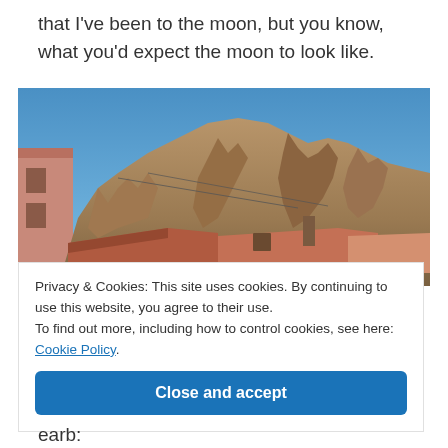that I've been to the moon, but you know, what you'd expect the moon to look like.
[Figure (photo): Photograph of dramatic rocky mountain cliffs rising above rooftops with a clear blue sky, taken from a building in what appears to be a South American city.]
Privacy & Cookies: This site uses cookies. By continuing to use this website, you agree to their use.
To find out more, including how to control cookies, see here: Cookie Policy
Close and accept
earb: